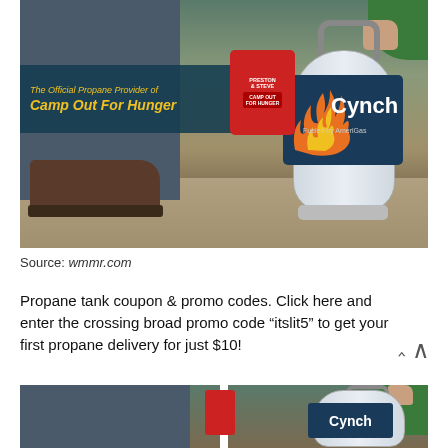[Figure (photo): Photo of a Cynch propane tank (Fueled by AmeriGas) on stone steps, with a person's legs/shoe visible on the left, plant greenery on the right, a Preston & Steve Camp Out For Hunger can in the middle, and a teal banner reading 'The Official Propane Provider of Camp Out For Hunger']
Source: wmmr.com
Propane tank coupon & promo codes. Click here and enter the crossing broad promo code “itslit5” to get your first propane delivery for just $10!
[Figure (photo): Partial bottom photo showing the same scene — person's legs on the left and Cynch propane tank on the right, cropped at the top of the page bottom]